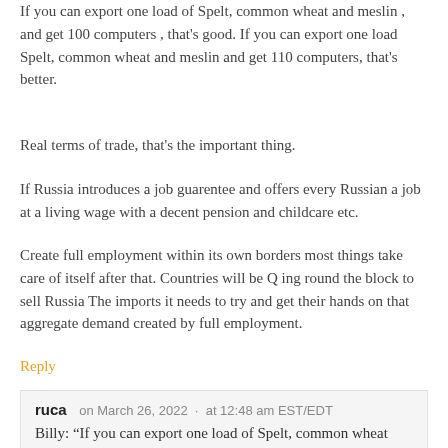If you can export one load of Spelt, common wheat and meslin , and get 100 computers , that's good. If you can export one load Spelt, common wheat and meslin and get 110 computers, that's better.
Real terms of trade, that's the important thing.
If Russia introduces a job guarentee and offers every Russian a job at a living wage with a decent pension and childcare etc.
Create full employment within its own borders most things take care of itself after that. Countries will be Q ing round the block to sell Russia The imports it needs to try and get their hands on that aggregate demand created by full employment.
Reply
ruca   on March 26, 2022  ·  at 12:48 am EST/EDT
Billy: “If you can export one load of Spelt, common wheat and meslin , and get 100 computers , that’s good. If you can export one load Spelt, common wheat and meslin and get 110 computers, that’s better.”